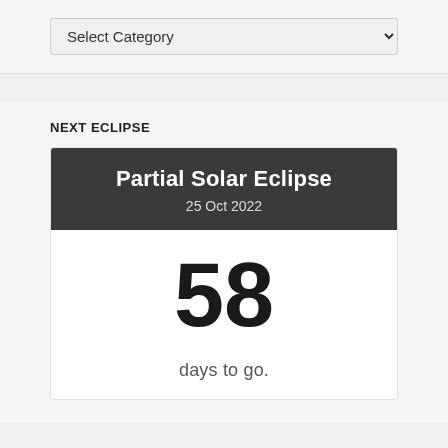Select Category
NEXT ECLIPSE
Partial Solar Eclipse
25 Oct 2022
58
days to go.